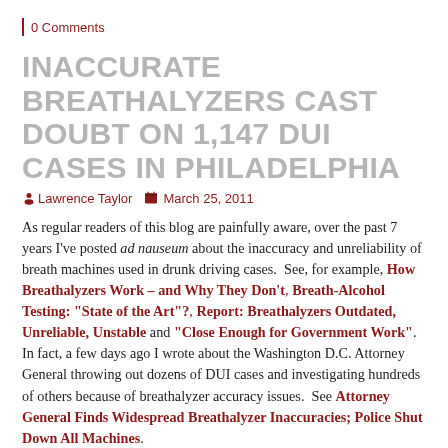| 0 Comments
INACCURATE BREATHALYZERS CAST DOUBT ON 1,147 DUI CASES IN PHILADELPHIA
Lawrence Taylor   March 25, 2011
As regular readers of this blog are painfully aware, over the past 7 years I've posted ad nauseum about the inaccuracy and unreliability of breath machines used in drunk driving cases. See, for example, How Breathalyzers Work – and Why They Don't, Breath-Alcohol Testing: "State of the Art"?, Report: Breathalyzers Outdated, Unreliable, Unstable and "Close Enough for Government Work". In fact, a few days ago I wrote about the Washington D.C. Attorney General throwing out dozens of DUI cases and investigating hundreds of others because of breathalyzer accuracy issues. See Attorney General Finds Widespread Breathalyzer Inaccuracies; Police Shut Down All Machines.